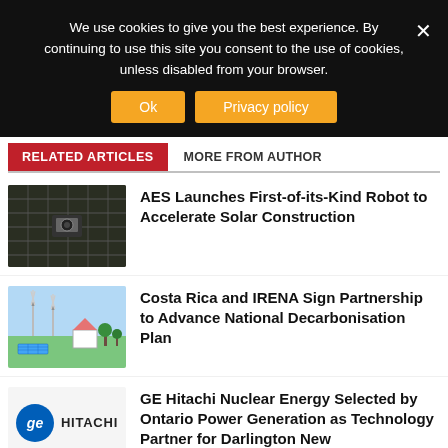We use cookies to give you the best experience. By continuing to use this site you consent to the use of cookies, unless disabled from your browser.
Ok | Privacy policy
RELATED ARTICLES   MORE FROM AUTHOR
[Figure (photo): Aerial view of solar panels with a robot on them]
AES Launches First-of-its-Kind Robot to Accelerate Solar Construction
[Figure (illustration): Illustration of wind turbines, solar panels and a house representing green energy]
Costa Rica and IRENA Sign Partnership to Advance National Decarbonisation Plan
[Figure (logo): GE Hitachi logo]
GE Hitachi Nuclear Energy Selected by Ontario Power Generation as Technology Partner for Darlington New